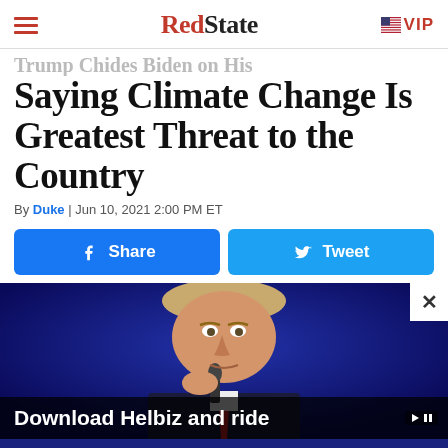RedState | VIP
Saying Climate Change Is Greatest Threat to the Country
By Duke | Jun 10, 2021 2:00 PM ET
[Figure (screenshot): Facebook Share button and Twitter Tweet button]
[Figure (photo): Photo of Donald Trump at microphone against blue background, with an advertisement overlay reading 'Download Helbiz and ride']